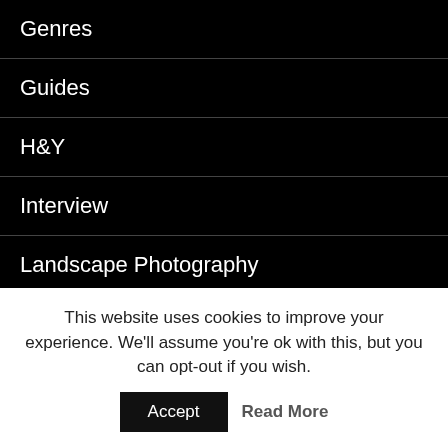Genres
Guides
H&Y
Interview
Landscape Photography
Laowa
Leica
Leica M
Leica R-mount
lenses
This website uses cookies to improve your experience. We'll assume you're ok with this, but you can opt-out if you wish.
Accept
Read More